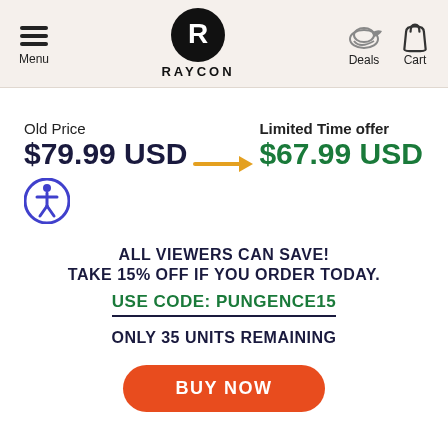Menu | RAYCON | Deals | Cart
Old Price $79.99 USD → Limited Time offer $67.99 USD
ALL VIEWERS CAN SAVE!
TAKE 15% OFF IF YOU ORDER TODAY.
USE CODE: PUNGENCE15
ONLY 35 UNITS REMAINING
BUY NOW